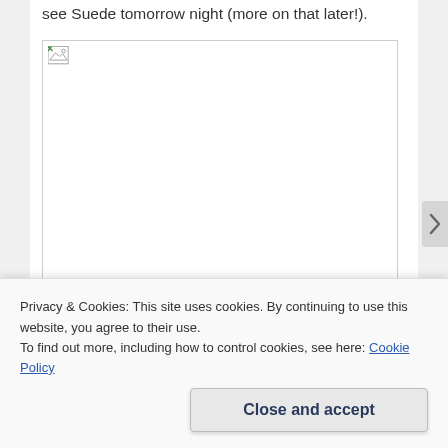see Suede tomorrow night (more on that later!).
[Figure (photo): Broken/unloaded image placeholder with a small broken image icon in the top-left corner. The image area is blank/white with a border.]
Next up was chilling out in the beer garden by the large Coachella Stage to see if Lauryn Hill would actually
Privacy & Cookies: This site uses cookies. By continuing to use this website, you agree to their use.
To find out more, including how to control cookies, see here: Cookie Policy
Close and accept